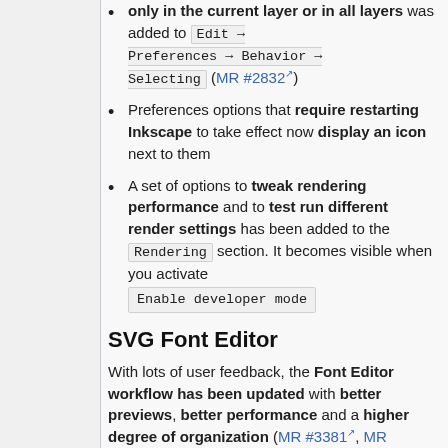only in the current layer or in all layers was added to Edit → Preferences → Behavior → Selecting (MR #2832)
Preferences options that require restarting Inkscape to take effect now display an icon next to them
A set of options to tweak rendering performance and to test run different render settings has been added to the Rendering section. It becomes visible when you activate Enable developer mode
SVG Font Editor
With lots of user feedback, the Font Editor workflow has been updated with better previews, better performance and a higher degree of organization (MR #3381, MR